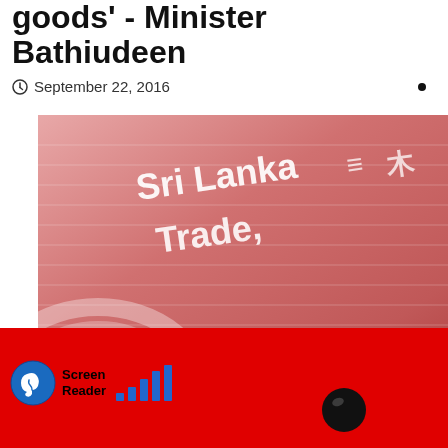goods' - Minister Bathiudeen
September 22, 2016
[Figure (photo): Close-up blurred photo of a display or banner reading 'Sri Lanka Trade,' with pink/red tones. A person's head silhouette visible at the bottom.]
Screen Reader